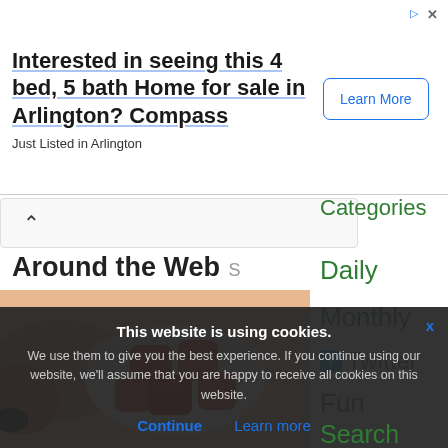[Figure (screenshot): Advertisement banner: Interested in seeing this 4 bed, 5 bath Home for sale in Arlington? Compass. Just Listed in Arlington. Learn More button.]
[Figure (screenshot): Navigation bar with up chevron/collapse arrow.]
Around the Web
[Figure (photo): A hand holding a small white cup filled with red gummy candy pieces.]
Categories
Daily
Monthly
Twitter
Fun
Search
About
This website is using cookies. We use them to give you the best experience. If you continue using our website, we'll assume that you are happy to receive all cookies on this website.
Continue   Learn more